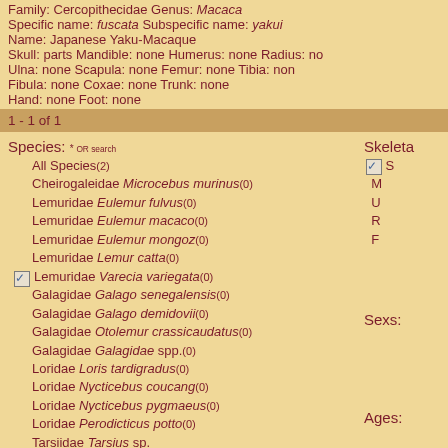Family: Cercopithecidae   Genus: Macaca
Specific name: fuscata   Subspecific name: yakui
Name: Japanese Yaku-Macaque
Skull: parts   Mandible: none   Humerus: none   Radius: none
Ulna: none   Scapula: none   Femur: none   Tibia: none
Fibula: none   Coxae: none   Trunk: none
Hand: none   Foot: none
1 - 1 of 1
Species: * OR search
All Species(2)
Cheirogaleidae Microcebus murinus(0)
Lemuridae Eulemur fulvus(0)
Lemuridae Eulemur macaco(0)
Lemuridae Eulemur mongoz(0)
Lemuridae Lemur catta(0)
Lemuridae Varecia variegata(0) [checked]
Galagidae Galago senegalensis(0)
Galagidae Galago demidovii(0)
Galagidae Otolemur crassicaudatus(0)
Galagidae Galagidae spp.(0)
Loridae Loris tardigradus(0)
Loridae Nycticebus coucang(0)
Loridae Nycticebus pygmaeus(0)
Loridae Perodicticus potto(0)
Tarsiidae Tarsius sp. (0)
Skeleta [Skeleton]
Sexs:
Ages: